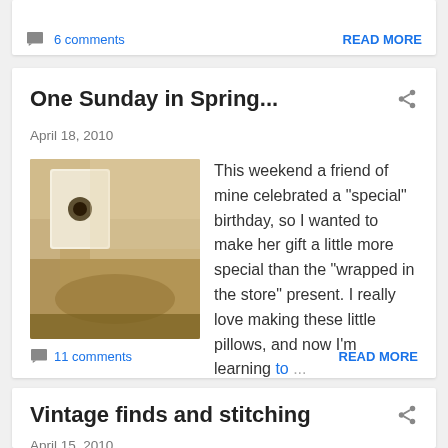6 comments
READ MORE
One Sunday in Spring...
April 18, 2010
[Figure (photo): Close-up photo of a small decorative pillow or handmade item with fabric and natural textures]
This weekend a friend of mine celebrated a "special" birthday, so I wanted to make her gift a little more special than the "wrapped in the store" present. I really love making these little pillows, and now I'm learning to ...
11 comments
READ MORE
Vintage finds and stitching
April 15, 2010